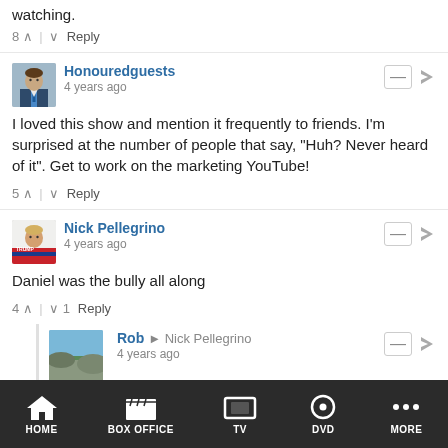watching.
8 ∧ | ∨ Reply
Honouredguests
4 years ago
I loved this show and mention it frequently to friends. I'm surprised at the number of people that say, "Huh? Never heard of it". Get to work on the marketing YouTube!
5 ∧ | ∨ Reply
Nick Pellegrino
4 years ago
Daniel was the bully all along
4 ∧ | ∨ 1 Reply
Rob → Nick Pellegrino
4 years ago
No he wasn't. You should re-watch the film and stop going by incorrect YouTube videos.
HOME  BOX OFFICE  TV  DVD  MORE